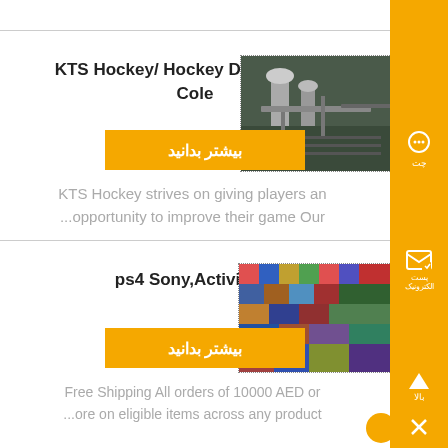KTS Hockey/ Hockey Development Cole
[Figure (photo): Industrial machinery image with silos and pipes inside a warehouse]
بیشتر بدانید
KTS Hockey strives on giving players an opportunity to improve their game Our...
ps4 Sony,Activision
[Figure (photo): Gaming or crowded colorful scene photo]
بیشتر بدانید
Free Shipping All orders of 10000 AED or ore on eligible items across any product...